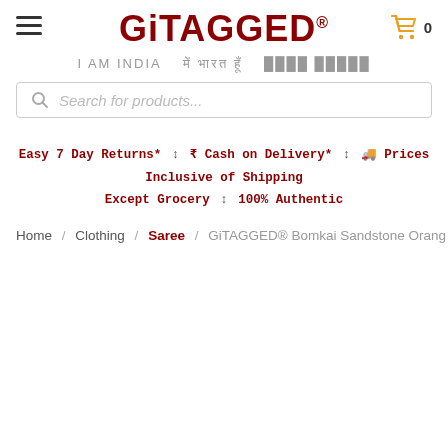[Figure (logo): GiTAGGED logo with registered trademark symbol, red bold text]
I AM INDIA  में भारत हूँ  ████ █████
[Figure (other): Shopping cart icon with count 0]
[Figure (other): Hamburger menu icon (three horizontal lines)]
Search for products...
Easy 7 Day Returns* ↕ ₹ Cash on Delivery* ↕ 🚚 Prices Inclusive of Shipping Except Grocery ↕ 100% Authentic
Home / Clothing / Saree / GiTAGGED® Bomkai Sandstone Orang